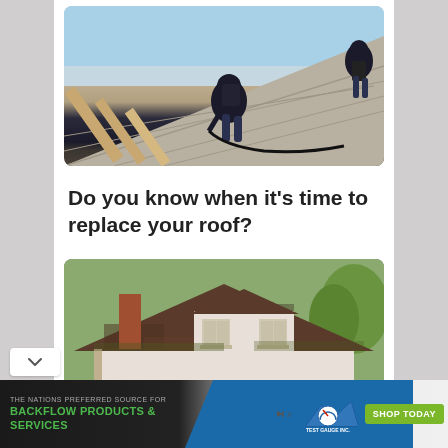[Figure (photo): Roofing workers on a rooftop installing shingles with tools and equipment]
Do you know when it’s time to replace your roof?
[Figure (photo): Exterior view of an older house with a worn dark roof and dormer windows]
[Figure (infographic): Advertisement banner for Test Gauge Inc. - The Nations Preferred Source for Backflow Products & Services with Shop Today button]